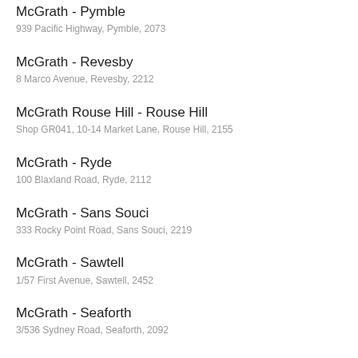McGrath - Pymble
939 Pacific Highway, Pymble, 2073
McGrath - Revesby
8 Marco Avenue, Revesby, 2212
McGrath Rouse Hill - Rouse Hill
Shop GR041, 10-14 Market Lane, Rouse Hill, 2155
McGrath - Ryde
100 Blaxland Road, Ryde, 2112
McGrath - Sans Souci
333 Rocky Point Road, Sans Souci, 2219
McGrath - Sawtell
1/57 First Avenue, Sawtell, 2452
McGrath - Seaforth
3/536 Sydney Road, Seaforth, 2092